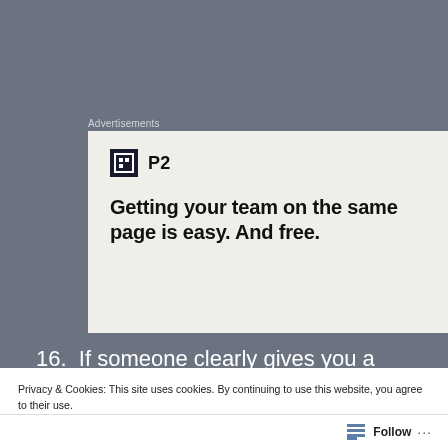Advertisements
[Figure (illustration): P2 advertisement with logo and tagline: Getting your team on the same page is easy. And free.]
16.  If someone clearly gives you a gap/helps you out of a jam/ moves slightly over the yellow line to
Privacy & Cookies: This site uses cookies. By continuing to use this website, you agree to their use.
To find out more, including how to control cookies, see here: Cookie Policy
Close and accept
Follow